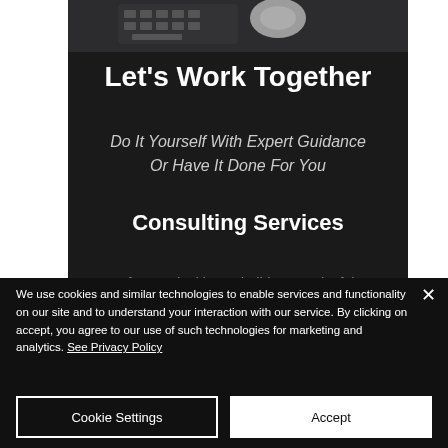Let's Work Together
Do It Yourself With Expert Guidance Or Have It Done For You
Consulting Services
If you're looking to build a meaningful
We use cookies and similar technologies to enable services and functionality on our site and to understand your interaction with our service. By clicking on accept, you agree to our use of such technologies for marketing and analytics. See Privacy Policy
Cookie Settings
Accept